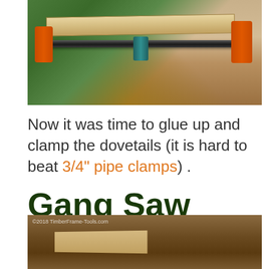[Figure (photo): Workshop photo showing wooden frame being clamped with orange and teal pipe clamps on a black pipe bar across a workbench]
Now it was time to glue up and clamp the dovetails (it is hard to beat 3/4" pipe clamps) .
Gang Saw Hardware
[Figure (photo): Workshop photo showing wooden planks on a workbench with copyright watermark 2018 TimberFrame-Tools.com]